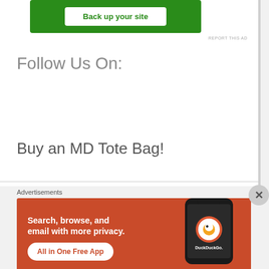[Figure (other): Green advertisement banner with white button that reads 'Back up your site']
REPORT THIS AD
Follow Us On:
Buy an MD Tote Bag!
Advertisements
[Figure (other): DuckDuckGo advertisement banner on orange/red background. Text: 'Search, browse, and email with more privacy. All in One Free App' with phone showing DuckDuckGo logo]